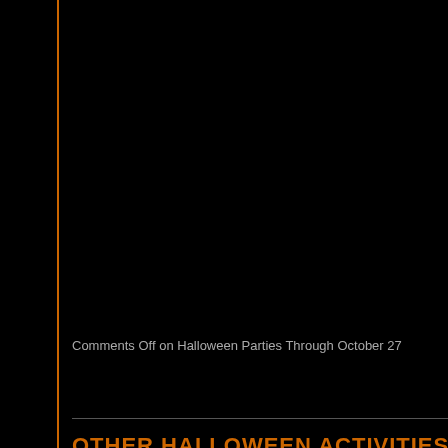Comments Off on Halloween Parties Through October 27
OTHER HALLOWEEN ACTIVITIES
02.10.2019 (11:28 pm) – Filed under: Halloween Links,Other Halloween Activities
This is a listing of pumpkin patches, festivals, and other Halloween related activities in the DFW area. Halloween parties will be added soon, so check back for u
Boo at the Zoo runs from October 25-27, 10am-5pm, at the Fort Worth Z admission or membership. It's basically a carnival at the zoo. Boo at the Check the website for hours, prices, and directions.